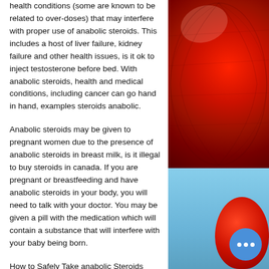health conditions (some are known to be related to over-doses) that may interfere with proper use of anabolic steroids. This includes a host of liver failure, kidney failure and other health issues, is it ok to inject testosterone before bed. With anabolic steroids, health and medical conditions, including cancer can go hand in hand, examples steroids anabolic.
Anabolic steroids may be given to pregnant women due to the presence of anabolic steroids in breast milk, is it illegal to buy steroids in canada. If you are pregnant or breastfeeding and have anabolic steroids in your body, you will need to talk with your doctor. You may be given a pill with the medication which will contain a substance that will interfere with your baby being born.
How to Safely Take anabolic Steroids
[Figure (photo): Red lantern or balloon close-up on upper right, blue sky with red balloon partial view on lower right]